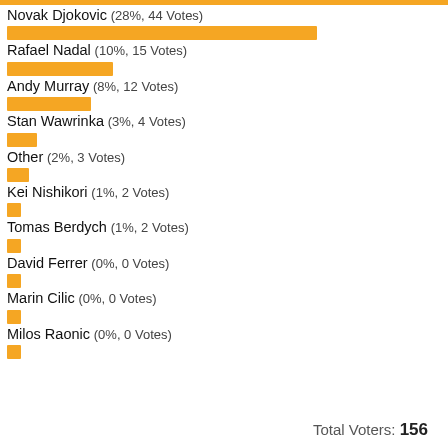[Figure (bar-chart): Poll results]
Total Voters: 156